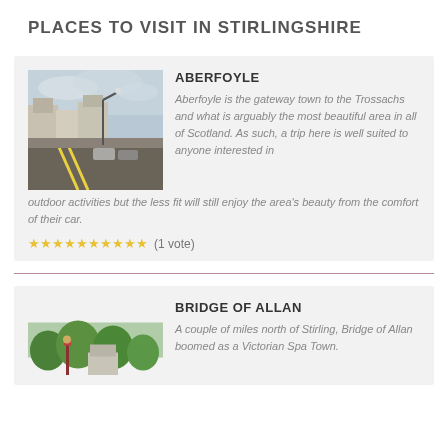PLACES TO VISIT IN STIRLINGSHIRE
ABERFOYLE
[Figure (photo): Street view of Aberfoyle town with buildings and cars under cloudy sky]
Aberfoyle is the gateway town to the Trossachs and what is arguably the most beautiful area in all of Scotland. As such, a trip here is well suited to anyone interested in outdoor activities but the less fit will still enjoy the area’s beauty from the comfort of their car.
★★★★★★★★★★ (1 vote)
BRIDGE OF ALLAN
[Figure (photo): Tree-lined street scene in Bridge of Allan with lamp post and buildings]
A couple of miles north of Stirling, Bridge of Allan boomed as a Victorian Spa Town.